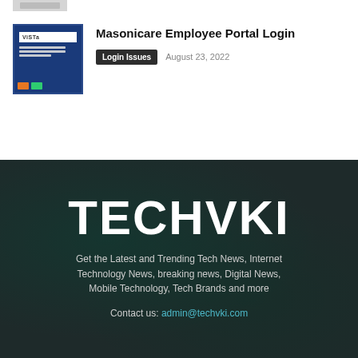[Figure (screenshot): Thumbnail image of a login screen with blue background, showing a login form interface labeled VISTA with orange and green badges at the bottom]
Masonicare Employee Portal Login
Login Issues   August 23, 2022
TECHVKI
Get the Latest and Trending Tech News, Internet Technology News, breaking news, Digital News, Mobile Technology, Tech Brands and more
Contact us: admin@techvki.com